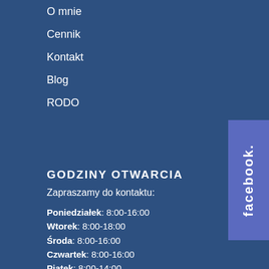O mnie
Cennik
Kontakt
Blog
RODO
[Figure (logo): Facebook vertical badge/button in purple-blue on the right side]
GODZINY OTWARCIA
Zapraszamy do kontaktu:
Poniedziałek: 8:00-16:00
Wtorek: 8:00-18:00
Środa: 8:00-16:00
Czwartek: 8:00-16:00
Piątek: 8:00-14:00
Sobota-niedziela: zamknięte